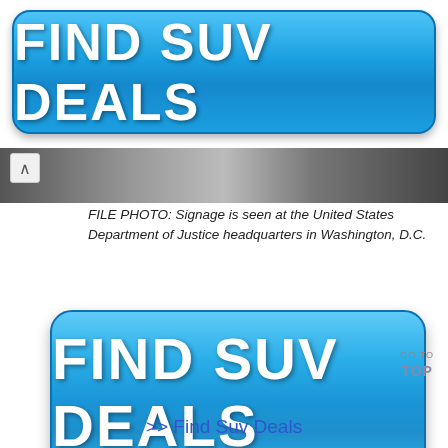[Figure (other): Blue rounded button with white bold text reading FIND SUV DEALS]
[Figure (photo): File photo strip of United States Department of Justice headquarters building, partial view]
FILE PHOTO: Signage is seen at the United States Department of Justice headquarters in Washington, D.C.
[Figure (other): Larger blue rounded button with white bold text reading FIND SUV DEALS]
>> Find Suv Deals
GO TO TOP